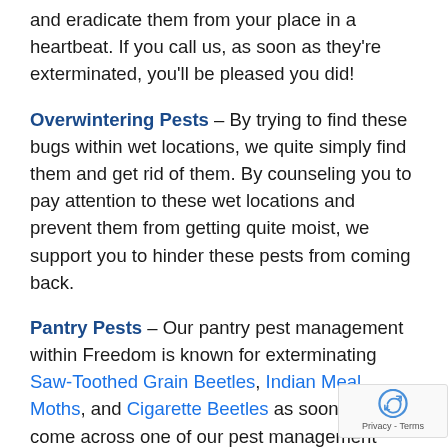and eradicate them from your place in a heartbeat. If you call us, as soon as they're exterminated, you'll be pleased you did!
Overwintering Pests – By trying to find these bugs within wet locations, we quite simply find them and get rid of them. By counseling you to pay attention to these wet locations and prevent them from getting quite moist, we support you to hinder these pests from coming back.
Pantry Pests – Our pantry pest management within Freedom is known for exterminating Saw-Toothed Grain Beetles, Indian Meal Moths, and Cigarette Beetles as soon as they come across one of our pest management experts.
Spiders and Black Widows – While these pests are familiar pests, they won't go away just by wishing it. However, our spider removal remedies get the desired results, so you can get rid of them.